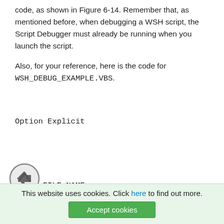code, as shown in Figure 6-14. Remember that, as mentioned before, when debugging a WSH script, the Script Debugger must already be running when you launch the script.
Also, for your reference, here is the code for WSH_DEBUG_EXAMPLE.VBS.
Option Explicit
Const FILE_NAME = "WSH_DEBUG_TEST_FILE.TXT"
This website uses cookies. Click here to find out more. Accept cookies